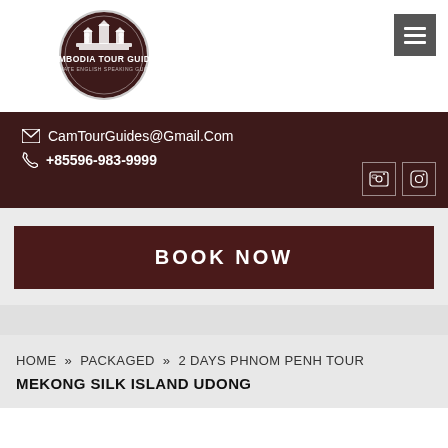[Figure (logo): Cambodia Tour Guides logo — circular dark brown emblem with temple silhouette and text 'CAMBODIA TOUR GUIDES / Private English Speaking Guides']
≡ (hamburger menu icon)
✉ CamTourGuides@Gmail.Com
📞 +85596-983-9999
BOOK NOW
HOME » PACKAGED » 2 DAYS PHNOM PENH TOUR MEKONG SILK ISLAND UDONG